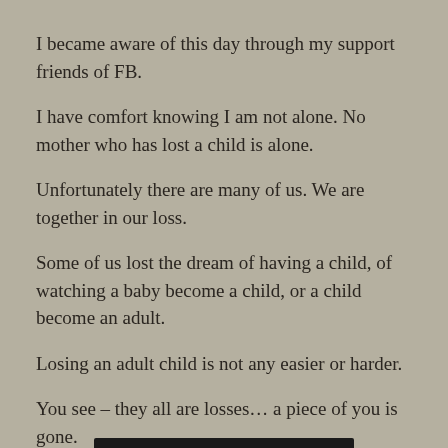I became aware of this day through my support friends of FB.
I have comfort knowing I am not alone. No mother who has lost a child is alone.
Unfortunately there are many of us. We are together in our loss.
Some of us lost the dream of having a child, of watching a baby become a child, or a child become an adult.
Losing an adult child is not any easier or harder.
You see – they all are losses… a piece of you is gone.